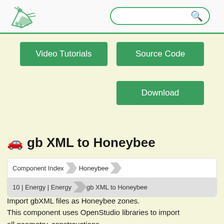Grasshopper logo and search bar
Video Tutorials
Source Code
Download
gb XML to Honeybee
Component Index > Honeybee > 10 | Energy | Energy > gb XML to Honeybee
Import gbXML files as Honeybee zones.
This component uses OpenStudio libraries to import all geometry, constrcuctions,